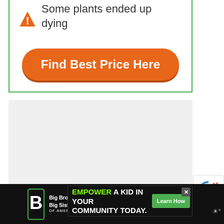Some plants ended up dying
[Figure (illustration): Orange rounded rectangle button with white bold text 'Find Best Price Here']
[Figure (screenshot): Large light gray content area below the card]
[Figure (logo): Big Brothers Big Sisters of America logo in bottom bar]
[Figure (infographic): Advertisement banner: EMPOWER A KID IN YOUR COMMUNITY TODAY. with green Learn How button and X close button]
[Figure (other): reCAPTCHA badge partial view on right side]
[Figure (other): Weather icon bottom right of bar]